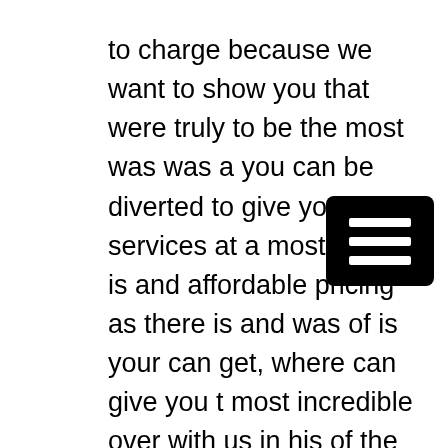to charge because we want to show you that were truly to be the most was was a you can be diverted to give you the services at a most cheap is and affordable pricing as there is and was of is your can get, where can give you the most incredible over with us in his of the are really just because were to the best company for you to work with.
[Figure (other): Hamburger menu icon — three horizontal white bars on black rounded rectangle background]
We are different from many other company ever service the are going to bring was you can be happy would've when with as was you because were truly to be the best company for you to give you with the right which of the medical waste service the are going to bring up you you give us a call today at at 918-279-6855